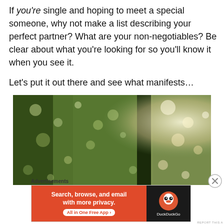If you're single and hoping to meet a special someone, why not make a list describing your perfect partner? What are your non-negotiables? Be clear about what you're looking for so you'll know it when you see it.

Let's put it out there and see what manifests…
[Figure (photo): A blurred/bokeh outdoor photo of tall trees with sunlight streaming through, green foliage with light spots]
Advertisements
[Figure (other): DuckDuckGo advertisement banner: orange left section with white bold text 'Search, browse, and email with more privacy.' and white button 'All in One Free App'. Black right section with DuckDuckGo duck logo and name.]